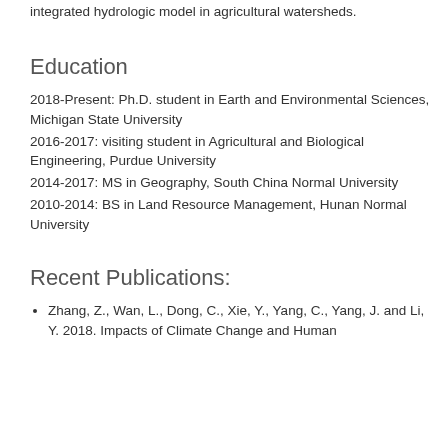integrated hydrologic model in agricultural watersheds.
Education
2018-Present: Ph.D. student in Earth and Environmental Sciences, Michigan State University
2016-2017: visiting student in Agricultural and Biological Engineering, Purdue University
2014-2017: MS in Geography, South China Normal University
2010-2014: BS in Land Resource Management, Hunan Normal University
Recent Publications:
Zhang, Z., Wan, L., Dong, C., Xie, Y., Yang, C., Yang, J. and Li, Y. 2018. Impacts of Climate Change and Human